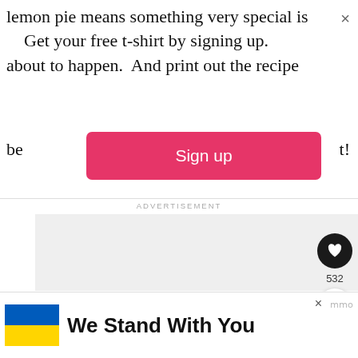lemon pie means something very special is about to happen.  And print out the recipe be...t!
Get your free t-shirt by signing up.
[Figure (screenshot): Pink/red Sign up button (call to action bar)]
ADVERTISEMENT
[Figure (other): White/gray advertisement placeholder area with heart icon (532 saves) and share button on the right side, and a 'What's Next' recommendation showing '21 Perfect Pie Recipes For...']
[Figure (other): Bottom banner ad with Ukraine flag (blue and yellow) and text 'We Stand With You' with a close X button and logo]